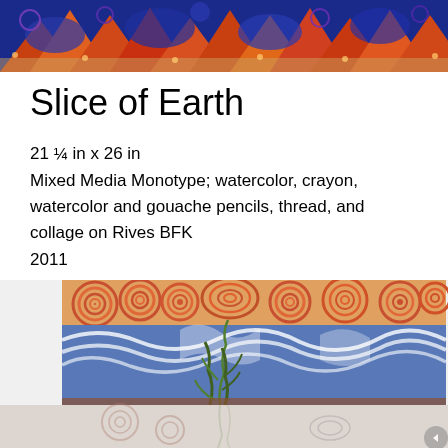[Figure (illustration): Decorative banner artwork at the top of the page featuring an intricate pattern with blue, orange, red, and purple colors in geometric and organic shapes — appears to be a detail from the artwork 'Slice of Earth']
Slice of Earth
21 ¼ in x 26 in
Mixed Media Monotype; watercolor, crayon, watercolor and gouache pencils, thread, and collage on Rives BFK
2011
[Figure (illustration): The artwork 'Slice of Earth' (2011) — a mixed media monotype showing swirling concentric circle patterns in orange and pink at the top (representing earth or clouds), a central section with blue wave-like forms and green plant/seaweed forms, and a faded reflection at the bottom]